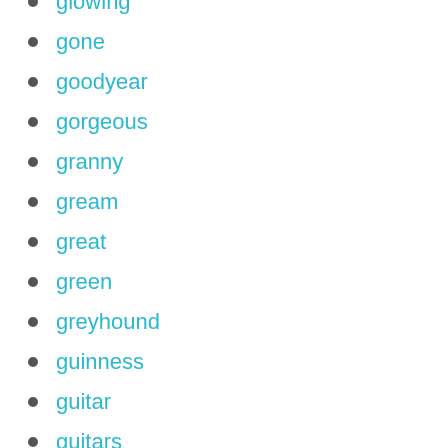glowing
gone
goodyear
gorgeous
granny
gream
great
green
greyhound
guinness
guitar
guitars
gulf
gumby
h027
halfway
halloween
hamburger
hamm's
hanged